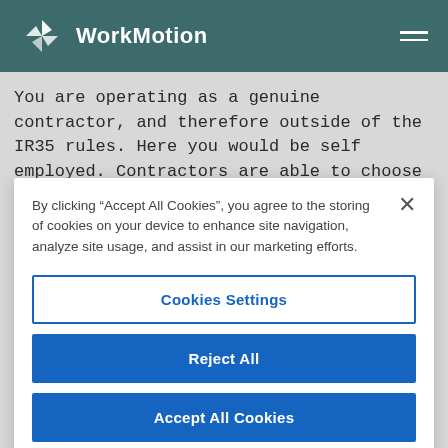WorkMotion
You are operating as a genuine contractor, and therefore outside of the IR35 rules. Here you would be self employed. Contractors are able to choose the
By clicking “Accept All Cookies”, you agree to the storing of cookies on your device to enhance site navigation, analyze site usage, and assist in our marketing efforts.
Cookies Settings
Reject All
Accept All Cookies